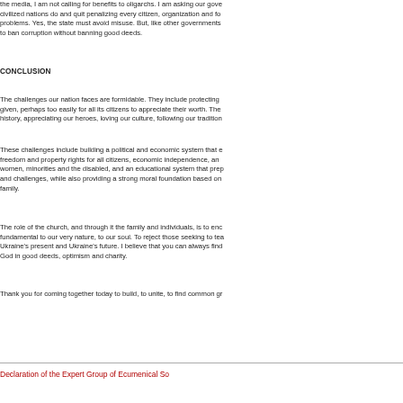the media, I am not calling for benefits to oligarchs. I am asking our gove civilized nations do and quit penalizing every citizen, organization and fo problems. Yes, the state must avoid misuse. But, like other governments to ban corruption without banning good deeds.
CONCLUSION
The challenges our nation faces are formidable. They include protecting given, perhaps too easily for all its citizens to appreciate their worth. The history, appreciating our heroes, loving our culture, following our tradition
These challenges include building a political and economic system that e freedom and property rights for all citizens, economic independence, an women, minorities and the disabled, and an educational system that prep and challenges, while also providing a strong moral foundation based on family.
The role of the church, and through it the family and individuals, is to enc fundamental to our very nature, to our soul. To reject those seeking to tea Ukraine's present and Ukraine's future. I believe that you can always find God in good deeds, optimism and charity.
Thank you for coming together today to build, to unite, to find common gr
Declaration of the Expert Group of Ecumenical So